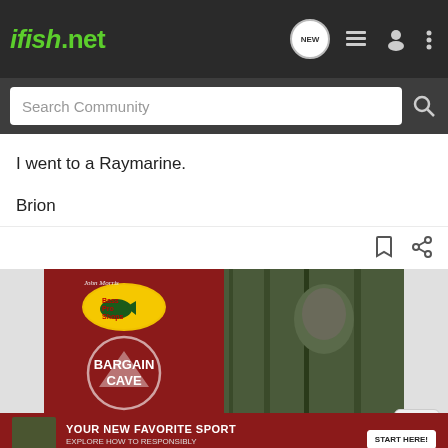ifish.net
Search Community
I went to a Raymarine.

Brion
[Figure (screenshot): Bass Pro Shops advertisement showing Bargain Cave promotion with a person in camouflage gear, and a smaller ad below reading YOUR NEW FAVORITE SPORT - EXPLORE HOW TO RESPONSIBLY PARTICIPATE IN THE SHOOTING SPORTS. START HERE!]